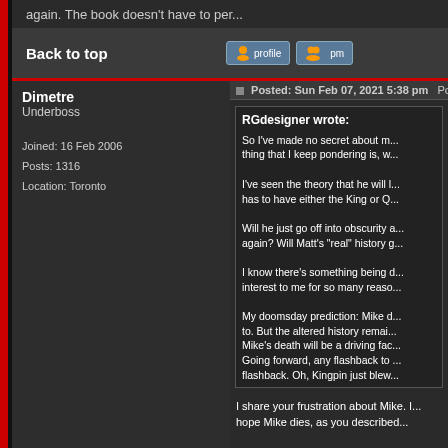again. The book doesn't have to per...
Back to top
Dimetre
Underboss

Joined: 16 Feb 2006
Posts: 1316
Location: Toronto
Posted: Sun Feb 07, 2021 5:38 pm  Po...
RGdesigner wrote:
So I've made no secret about m... thing that I keep pondering is, w...

I've seen the theory that he will l... has to have either the King or Q...

Will he just go off into obscurity a... again? Will Matt's "real" history g...

I know there's something being d... interest to me for so many reaso...

My doomsday prediction: Mike d... to. But the altered history remai... Mike's death will be a driving fac... Going forward, any flashback to ... flashback. Oh, Kingpin just blew...
I share your frustration about Mike. I... hope Mike dies, as you described...